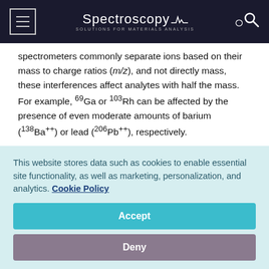Spectroscopy — Solutions for Materials Analysis
spectrometers commonly separate ions based on their mass to charge ratios (m/z), and not directly mass, these interferences affect analytes with half the mass. For example, 69Ga or 103Rh can be affected by the presence of even moderate amounts of barium (138Ba++) or lead (206Pb++), respectively.
This type of interference is even more pronounced when working with kinetic energy discrimination (KED) for the
This website stores data such as cookies to enable essential site functionality, as well as marketing, personalization, and analytics. Cookie Policy
Accept
Deny